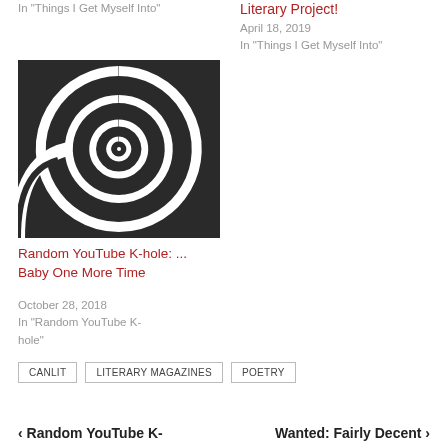In "Things I Get Myself Into"
Literary Project!
April 18, 2019
In "Things I Get Myself Into"
[Figure (illustration): Black and white hypnotic spiral image]
Random YouTube K-hole: ... Baby One More Time
October 28, 2018
In "Random YouTube K-hole"
CANLIT   LITERARY MAGAZINES   POETRY
< Random YouTube K-
Wanted: Fairly Decent >